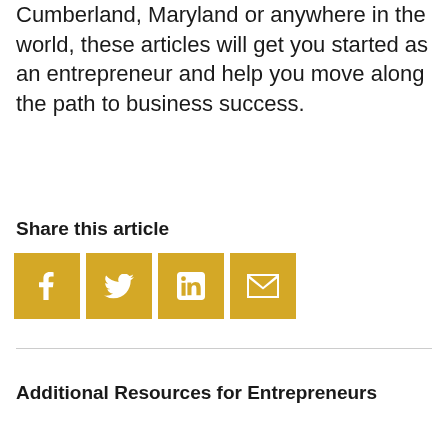Cumberland, Maryland or anywhere in the world, these articles will get you started as an entrepreneur and help you move along the path to business success.
Share this article
[Figure (infographic): Four golden square social media share buttons: Facebook (f), Twitter (bird), LinkedIn (in), Email (envelope)]
Additional Resources for Entrepreneurs